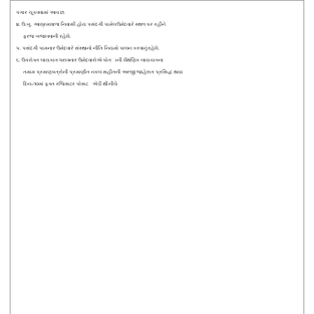[Figure (other): Gujarati language job notice/advertisement clipping showing numbered points in Gujarati script about job application rules and address for submission]
For Best View Please Open This Website In CHROME / OPERA Browser
[Figure (other): Social media share icons: Facebook (blue) and WhatsApp (green)]
Tags JOB UPDATES
Related Posts
[Figure (other): Bottom share bar with WhatsApp (green), Facebook (blue), and Telegram (light blue) buttons]